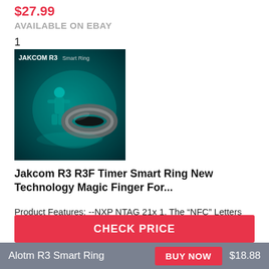$27.99
AVAILABLE ON EBAY
1
[Figure (photo): Product photo of Jakcom R3 Smart Ring on dark teal/blue background with a stylized figure, showing the ring prominently]
Jakcom R3 R3F Timer Smart Ring New Technology Magic Finger For...
Product Features: --NXP NTAG 21x 1. The “NFC” Letters area carries a new NXP smart NFC chip. 2. It has 106 KB/s data transmission, and 100,000 cycles of writing operation durability degree, can store data for 10 years, and effectively...
CHECK PRICE
Alotm R3 Smart Ring
BUY NOW
$18.88